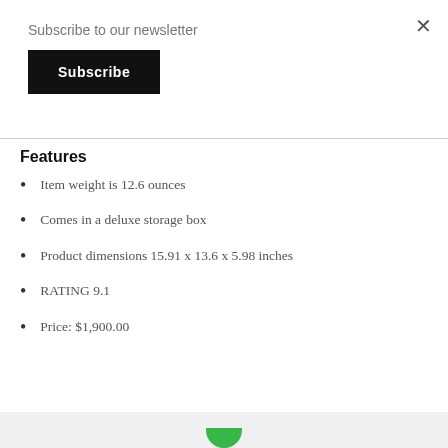Subscribe to our newsletter
Subscribe
Features
Item weight is 12.6 ounces
Comes in a deluxe storage box
Product dimensions 15.91 x 13.6 x 5.98 inches
RATING 9.1
Price: $1,900.00